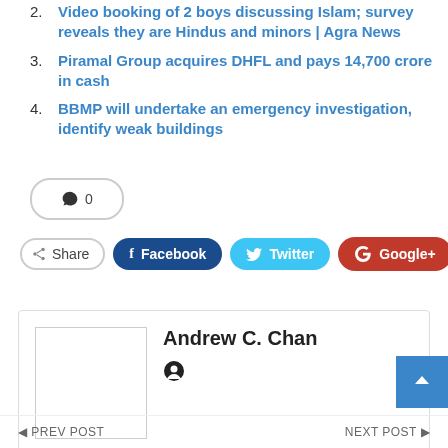2. Video booking of 2 boys discussing Islam; survey reveals they are Hindus and minors | Agra News
3. Piramal Group acquires DHFL and pays 14,700 crore in cash
4. BBMP will undertake an emergency investigation, identify weak buildings
0
Share  Facebook  Twitter  Google+  +
Andrew C. Chan
PREV POST   NEXT POST